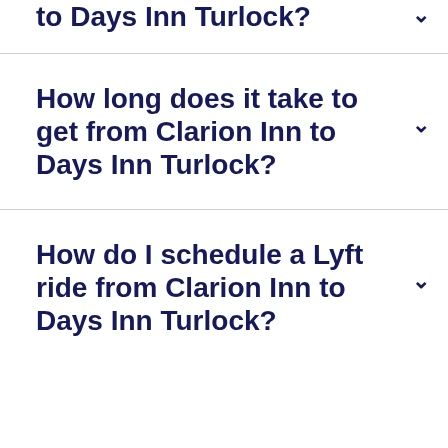How far is it from Clarion Inn to Days Inn Turlock?
How long does it take to get from Clarion Inn to Days Inn Turlock?
How do I schedule a Lyft ride from Clarion Inn to Days Inn Turlock?